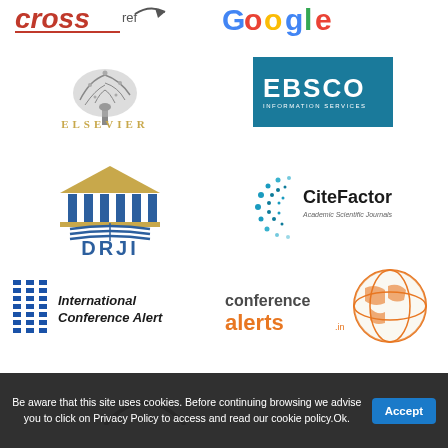[Figure (logo): CrossRef logo - red italic text with underline]
[Figure (logo): Google Scholar logo - partial view, colorful letters]
[Figure (logo): Elsevier logo with tree illustration and orange ELSEVIER text]
[Figure (logo): EBSCO Information Services logo on teal/blue background]
[Figure (logo): DRJI logo with building/library and columns icon in blue and gold]
[Figure (logo): CiteFactor Academic Scientific Journals logo with dot circle]
[Figure (logo): ICA International Conference Alert logo in blue]
[Figure (logo): ConferenceAlerts.in logo with globe in orange]
[Figure (logo): Partial logo at bottom, partially hidden by cookie banner]
Be aware that this site uses cookies. Before continuing browsing we advise you to click on Privacy Policy to access and read our cookie policy.Ok.
Accept